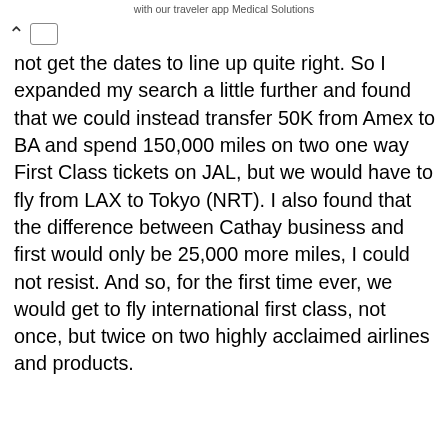with our traveler app Medical Solutions
not get the dates to line up quite right. So I expanded my search a little further and found that we could instead transfer 50K from Amex to BA and spend 150,000 miles on two one way First Class tickets on JAL, but we would have to fly from LAX to Tokyo (NRT). I also found that the difference between Cathay business and first would only be 25,000 more miles, I could not resist. And so, for the first time ever, we would get to fly international first class, not once, but twice on two highly acclaimed airlines and products.